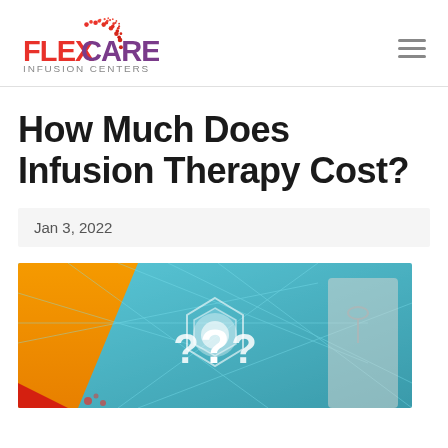FlexCare Infusion Centers — navigation logo and menu
How Much Does Infusion Therapy Cost?
Jan 3, 2022
[Figure (photo): Doctor in white coat touching a glowing digital hexagonal interface displaying question marks, suggesting medical cost questions. Orange and teal background.]